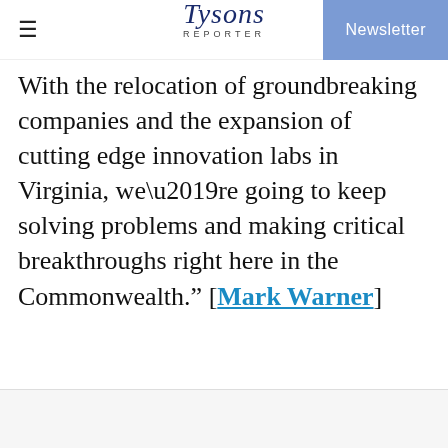Tysons Reporter | Newsletter
With the relocation of groundbreaking companies and the expansion of cutting edge innovation labs in Virginia, we’re going to keep solving problems and making critical breakthroughs right here in the Commonwealth.” [​Mark Warner​]
Virginia lawmakers Near a Budget Deal…